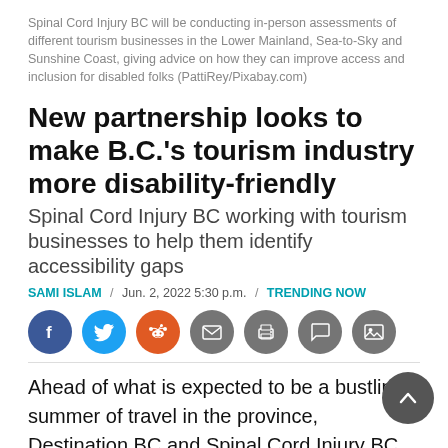Spinal Cord Injury BC will be conducting in-person assessments of different tourism businesses in the Lower Mainland, Sea-to-Sky and Sunshine Coast, giving advice on how they can improve access and inclusion for disabled folks (PattiRey/Pixabay.com)
New partnership looks to make B.C.'s tourism industry more disability-friendly
Spinal Cord Injury BC working with tourism businesses to help them identify accessibility gaps
SAMI ISLAM / Jun. 2, 2022 5:30 p.m. / TRENDING NOW
[Figure (other): Social media sharing icons: Facebook, Twitter, Reddit, Email, Print, Comment, Image]
Ahead of what is expected to be a bustling summer of travel in the province, Destination BC and Spinal Cord Injury BC have announced a partnership to create and promote accessible tourism.